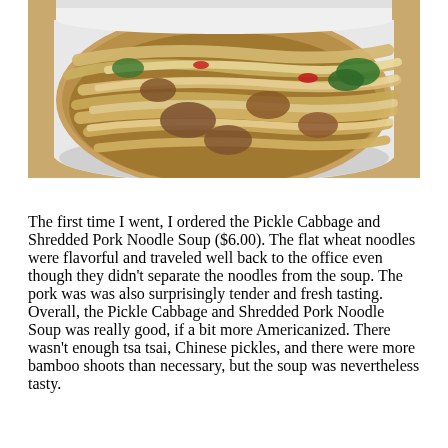[Figure (photo): Overhead photo of a white plastic takeout container filled with noodle soup — flat wheat noodles, shredded pork, vegetables including green leafy pieces and red chili, in a brown broth. The container sits on a tan/yellow wooden surface.]
The first time I went, I ordered the Pickle Cabbage and Shredded Pork Noodle Soup ($6.00). The flat wheat noodles were flavorful and traveled well back to the office even though they didn't separate the noodles from the soup. The pork was was also surprisingly tender and fresh tasting. Overall, the Pickle Cabbage and Shredded Pork Noodle Soup was really good, if a bit more Americanized. There wasn't enough tsa tsai, Chinese pickles, and there were more bamboo shoots than necessary, but the soup was nevertheless tasty.